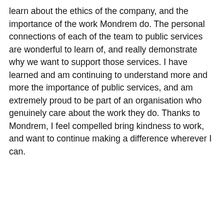learn about the ethics of the company, and the importance of the work Mondrem do. The personal connections of each of the team to public services are wonderful to learn of, and really demonstrate why we want to support those services. I have learned and am continuing to understand more and more the importance of public services, and am extremely proud to be part of an organisation who genuinely care about the work they do. Thanks to Mondrem, I feel compelled bring kindness to work, and want to continue making a difference wherever I can.
Share this post:
Our site uses cookies. For more information, see our cookie policy.
Accept cookies and close
Reject cookies
Manage settings
Leave a comment: